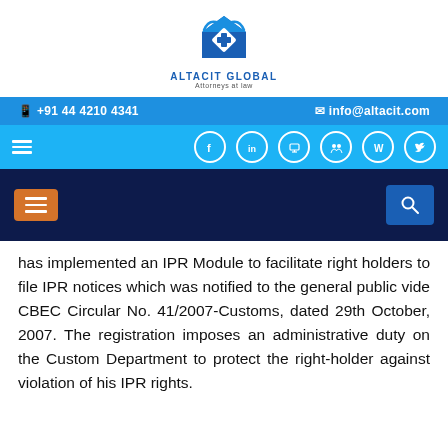[Figure (logo): Altacit Global Attorneys-at-law logo with blue diamond/house icon]
📱 +91 44 4210 4341    ✉ info@altacit.com
[Figure (infographic): Social media navigation bar with Facebook, LinkedIn, YouTube, Groups, Wikipedia, Twitter icons]
[Figure (screenshot): Dark navy navigation bar with orange hamburger menu and blue search button]
has implemented an IPR Module to facilitate right holders to file IPR notices which was notified to the general public vide CBEC Circular No. 41/2007-Customs, dated 29th October, 2007. The registration imposes an administrative duty on the Custom Department to protect the right-holder against violation of his IPR rights.